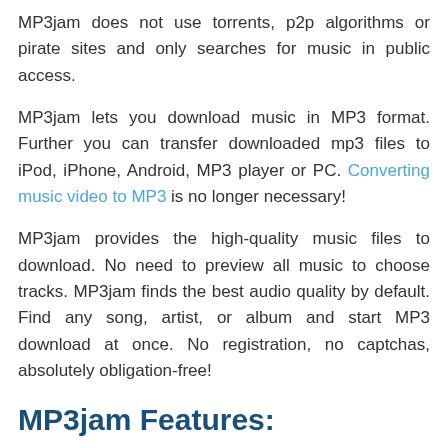MP3jam does not use torrents, p2p algorithms or pirate sites and only searches for music in public access.
MP3jam lets you download music in MP3 format. Further you can transfer downloaded mp3 files to iPod, iPhone, Android, MP3 player or PC. Converting music video to MP3 is no longer necessary!
MP3jam provides the high-quality music files to download. No need to preview all music to choose tracks. MP3jam finds the best audio quality by default. Find any song, artist, or album and start MP3 download at once. No registration, no captchas, absolutely obligation-free!
MP3jam Features:
All-in-one Music Jukebox